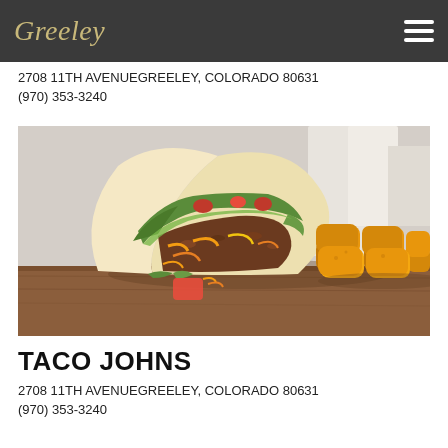Greeley
2708 11TH AVENUEGREELEY, COLORADO 80631
(970) 353-3240
[Figure (photo): Photo of a taco filled with meat, shredded lettuce, shredded cheese, and diced tomatoes in a flour tortilla, alongside a pile of golden tater tots, on a wooden surface with a blurred restaurant background.]
TACO JOHNS
2708 11TH AVENUEGREELEY, COLORADO 80631
(970) 353-3240